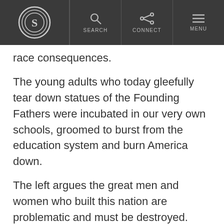S [logo] | SEARCH | CONNECT | MENU
race consequences.
The young adults who today gleefully tear down statues of the Founding Fathers were incubated in our very own schools, groomed to burst from the education system and burn America down.
The left argues the great men and women who built this nation are problematic and must be destroyed. Conservatives must demand an end to the indoctrination of our youth or face a new American public taught since childhood that the country shouldn’t exist.